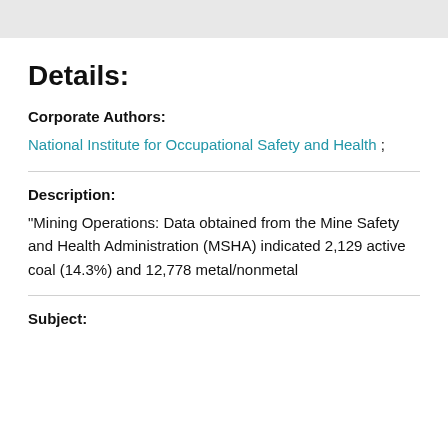Details:
Corporate Authors:
National Institute for Occupational Safety and Health ;
Description:
"Mining Operations: Data obtained from the Mine Safety and Health Administration (MSHA) indicated 2,129 active coal (14.3%) and 12,778 metal/nonmetal
Subject: